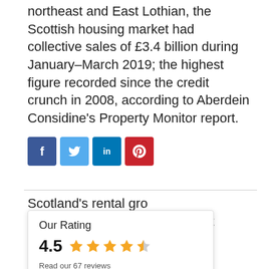northeast and East Lothian, the Scottish housing market had collective sales of £3.4 billion during January–March 2019; the highest figure recorded since the credit crunch in 2008, according to Aberdein Considine's Property Monitor report.
[Figure (infographic): Social share buttons: Facebook (blue), Twitter (light blue), LinkedIn (dark blue), Pinterest (red); plus a 'Continue reading' button on the right]
Scotland's rental growth outperforms the rest
[Figure (infographic): Rating overlay popup showing 'Our Rating' 4.5 stars (out of 5) with text 'Read our 67 reviews']
Property Law